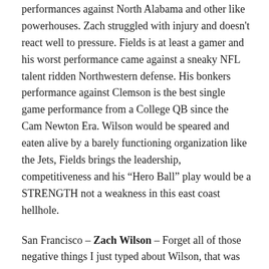performances against North Alabama and other like powerhouses. Zach struggled with injury and doesn't react well to pressure. Fields is at least a gamer and his worst performance came against a sneaky NFL talent ridden Northwestern defense. His bonkers performance against Clemson is the best single game performance from a College QB since the Cam Newton Era. Wilson would be speared and eaten alive by a barely functioning organization like the Jets, Fields brings the leadership, competitiveness and his “Hero Ball” play would be a STRENGTH not a weakness in this east coast hellhole.
San Francisco – Zach Wilson – Forget all of those negative things I just typed about Wilson, that was smokescreen nonsense. In all seriousness Wilson CAN be great, but he clearly requires more support than the Jets